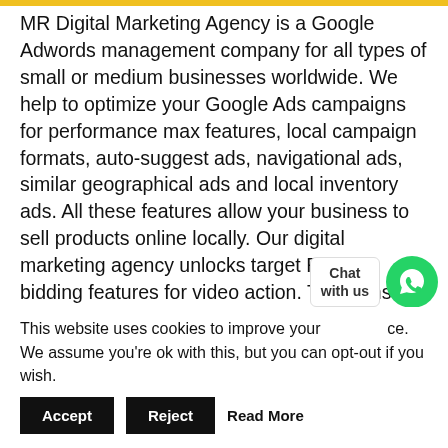MR Digital Marketing Agency is a Google Adwords management company for all types of small or medium businesses worldwide. We help to optimize your Google Ads campaigns for performance max features, local campaign formats, auto-suggest ads, navigational ads, similar geographical ads and local inventory ads. All these features allow your business to sell products online locally. Our digital marketing agency unlocks target ROAS bidding features for video action. The Consent Mode introduction by Google Ads has pushed companies of all scales to employ robust privacy policies. We...
This website uses cookies to improve your experience. We assume you're ok with this, but you can opt-out if you wish.